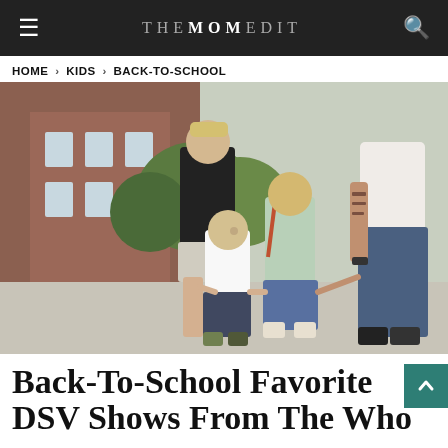THE MOM EDIT
HOME › KIDS › BACK-TO-SCHOOL
[Figure (photo): A family with two young children walking away from the camera on a sidewalk near a brick school building. The adults hold hands with the children. The children are wearing casual clothes and one has a backpack.]
Back-To-School Favorite DSV Shows From The Whol...